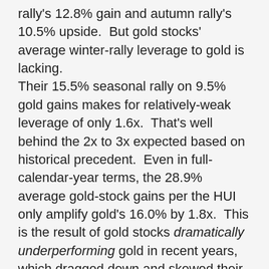rally's 12.8% gain and autumn rally's 10.5% upside. But gold stocks' average winter-rally leverage to gold is lacking. Their 15.5% seasonal rally on 9.5% gold gains makes for relatively-weak leverage of only 1.6x. That's well behind the 2x to 3x expected based on historical precedent. Even in full-calendar-year terms, the 28.9% average gold-stock gains per the HUI only amplify gold's 16.0% by 1.8x. This is the result of gold stocks dramatically underperforming gold in recent years, which dragged down and skewed their average gains. That was mostly the result of euphoric record stock markets retarding gold investment demand. Gold is the ultimate portfolio diversifier since it tends to rally when stock markets weaken. So as stock markets appeared to do nothing but rally indefinitely for years